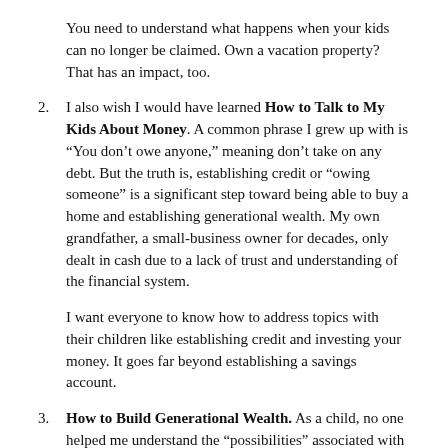You need to understand what happens when your kids can no longer be claimed. Own a vacation property? That has an impact, too.
2. I also wish I would have learned How to Talk to My Kids About Money. A common phrase I grew up with is “You don’t owe anyone,” meaning don’t take on any debt. But the truth is, establishing credit or “owing someone” is a significant step toward being able to buy a home and establishing generational wealth. My own grandfather, a small-business owner for decades, only dealt in cash due to a lack of trust and understanding of the financial system.
I want everyone to know how to address topics with their children like establishing credit and investing your money. It goes far beyond establishing a savings account.
3. How to Build Generational Wealth. As a child, no one helped me understand the “possibilities” associated with